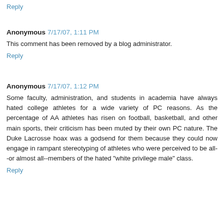Reply
Anonymous 7/17/07, 1:11 PM
This comment has been removed by a blog administrator.
Reply
Anonymous 7/17/07, 1:12 PM
Some faculty, administration, and students in academia have always hated college athletes for a wide variety of PC reasons. As the percentage of AA athletes has risen on football, basketball, and other main sports, their criticism has been muted by their own PC nature. The Duke Lacrosse hoax was a godsend for them because they could now engage in rampant stereotyping of athletes who were perceived to be all--or almost all--members of the hated "white privilege male" class.
Reply